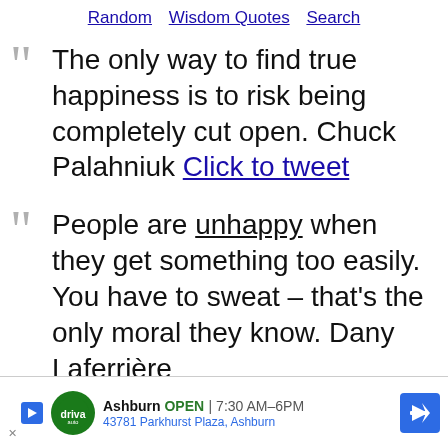Random   Wisdom Quotes   Search
“The only way to find true happiness is to risk being completely cut open. Chuck Palahniuk Click to tweet
“People are unhappy when they get something too easily. You have to sweat – that’s the only moral they know. Dany Laferrière
“The greatest secret to happiness and peace is letting every life situation be wh... it
[Figure (infographic): Ad banner: Driva Auto, Ashburn OPEN 7:30AM-6PM, 43781 Parkhurst Plaza Ashburn, with circular logo, play button icon, and blue navigation arrow]